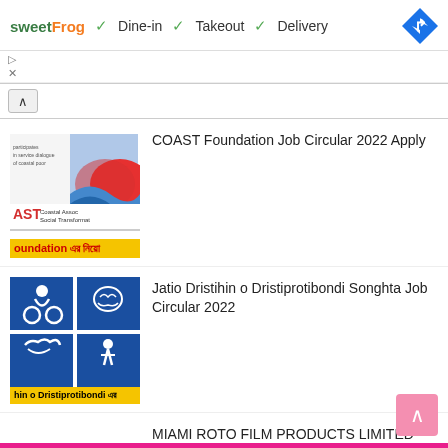[Figure (screenshot): SweetFrog ad banner showing Dine-in, Takeout, Delivery options with navigation icon]
▷
✕
^ COAST Foundation Job Circular 2022 Apply
[Figure (logo): COAST Foundation logo with coastal imagery and AST Coastal Association Social Transformation text, yellow banner reading 'oundation এর নিয়োগ']
COAST Foundation Job Circular 2022 Apply
[Figure (logo): Jatio Dristihin o Dristiprotibondi Songhta logo - blue grid with disability icons, yellow banner]
Jatio Dristihin o Dristiprotibondi Songhta Job Circular 2022
[Figure (logo): MMA Production Management logo with Miami Roto Film Products yellow banner]
MIAMI ROTO FILM PRODUCTS LIMITED Job Circular 2022